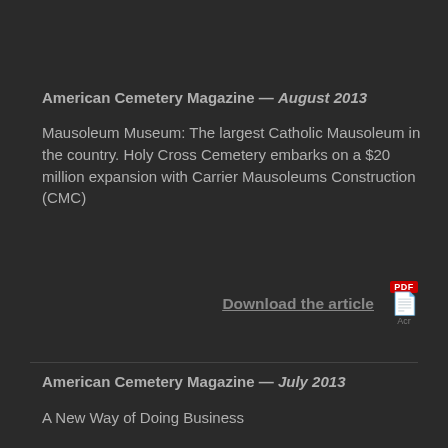American Cemetery Magazine — August 2013
Mausoleum Museum: The largest Catholic Mausoleum in the country. Holy Cross Cemetery embarks on a $20 million expansion with Carrier Mausoleums Construction (CMC)
Download the article
American Cemetery Magazine — July 2013
A New Way of Doing Business